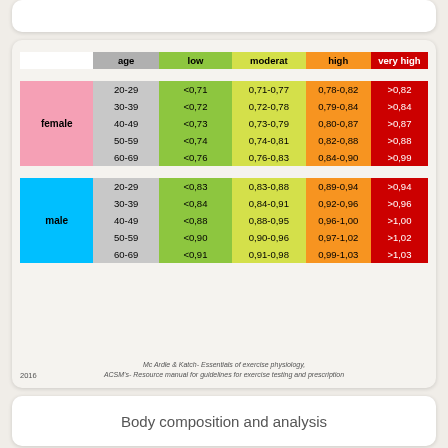|  | age | low | moderat | high | very high |
| --- | --- | --- | --- | --- | --- |
| female | 20-29 | <0,71 | 0,71-0,77 | 0,78-0,82 | >0,82 |
|  | 30-39 | <0,72 | 0,72-0,78 | 0,79-0,84 | >0,84 |
|  | 40-49 | <0,73 | 0,73-0,79 | 0,80-0,87 | >0,87 |
|  | 50-59 | <0,74 | 0,74-0,81 | 0,82-0,88 | >0,88 |
|  | 60-69 | <0,76 | 0,76-0,83 | 0,84-0,90 | >0,99 |
| male | 20-29 | <0,83 | 0,83-0,88 | 0,89-0,94 | >0,94 |
|  | 30-39 | <0,84 | 0,84-0,91 | 0,92-0,96 | >0,96 |
|  | 40-49 | <0,88 | 0,88-0,95 | 0,96-1,00 | >1,00 |
|  | 50-59 | <0,90 | 0,90-0,96 | 0,97-1,02 | >1,02 |
|  | 60-69 | <0,91 | 0,91-0,98 | 0,99-1,03 | >1,03 |
Mc Ardle & Katch- Essentials of exercise physiology. ACSM's- Resource manual for guidelines for exercise testing and prescription
2016
Body composition and analysis